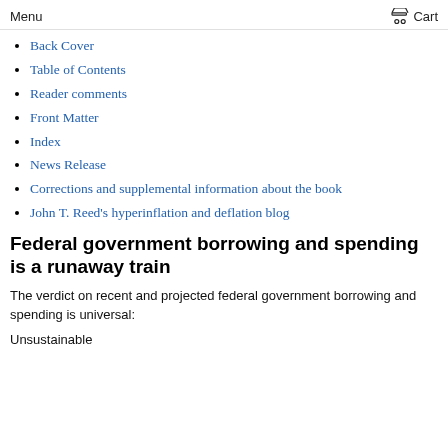Menu   Cart
Back Cover
Table of Contents
Reader comments
Front Matter
Index
News Release
Corrections and supplemental information about the book
John T. Reed's hyperinflation and deflation blog
Federal government borrowing and spending is a runaway train
The verdict on recent and projected federal government borrowing and spending is universal:
Unsustainable